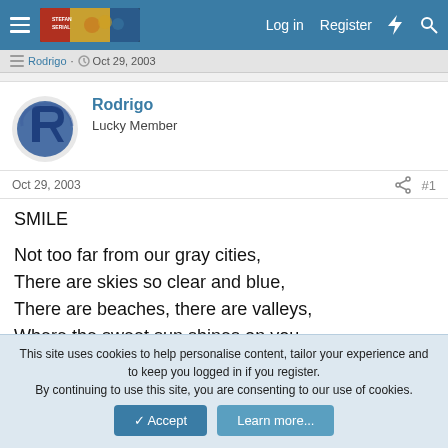Log in  Register
Rodrigo  Oct 29, 2003
Rodrigo
Lucky Member
Oct 29, 2003  #1
SMILE
Not too far from our gray cities,
There are skies so clear and blue,
There are beaches, there are valleys,
Where the sweet sun shines on you.
So, count your garden by the flowers,
This site uses cookies to help personalise content, tailor your experience and to keep you logged in if you register.
By continuing to use this site, you are consenting to our use of cookies.